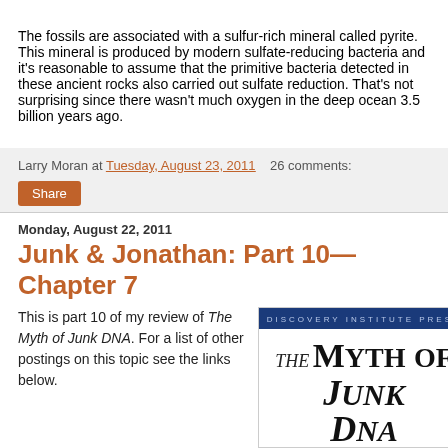The fossils are associated with a sulfur-rich mineral called pyrite. This mineral is produced by modern sulfate-reducing bacteria and it's reasonable to assume that the primitive bacteria detected in these ancient rocks also carried out sulfate reduction. That's not surprising since there wasn't much oxygen in the deep ocean 3.5 billion years ago.
Larry Moran at Tuesday, August 23, 2011    26 comments:
Share
Monday, August 22, 2011
Junk & Jonathan: Part 10—Chapter 7
This is part 10 of my review of The Myth of Junk DNA. For a list of other postings on this topic see the links below.
[Figure (photo): Book cover of 'The Myth of Junk DNA' published by Discovery Institute Press, showing the title text on a white background with a dark blue banner at the top.]